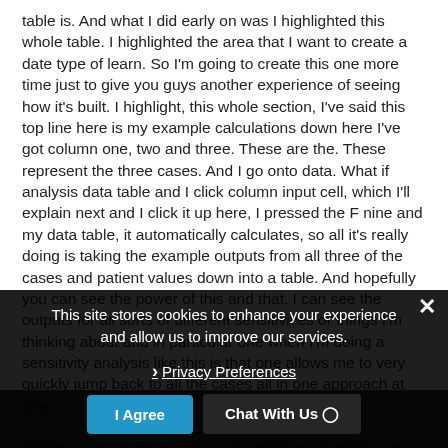table is. And what I did early on was I highlighted this whole table. I highlighted the area that I want to create a date type of learn. So I'm going to create this one more time just to give you guys another experience of seeing how it's built. I highlight, this whole section, I've said this top line here is my example calculations down here I've got column one, two and three. These are the. These represent the three cases. And I go onto data. What if analysis data table and I click column input cell, which I'll explain next and I click it up here, I pressed the F nine and my data table, it automatically calculates, so all it's really doing is taking the example outputs from all three of the cases and patient values down into a table. And hopefully you can see the power of this and that. I can see the outputs for all sorts of different sensitivities or things I'm thinking about and in particular one when I'm doing a sensitivity analysis like this is that one allows me to very quickly jump back to all the cases all in one approach at one.
Well how do we do that? And so I think the summary of what I just did is for us to be able to drop the slides would be like download the attached files and you've got the step by step if you want. And then the other with a question we have is why does the input cell refer
This site stores cookies to enhance your experience and allow us to improve our services.
Privacy Preferences
I Agree
Chat With Us